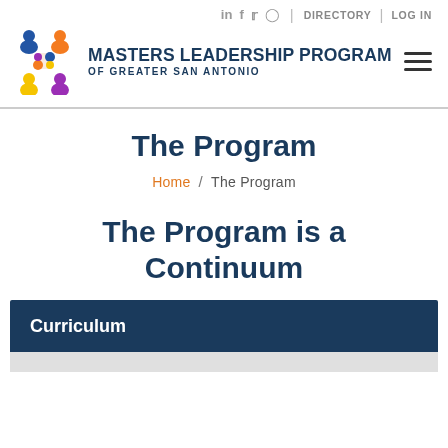Masters Leadership Program of Greater San Antonio — navigation header with social icons (LinkedIn, Facebook, Twitter, Instagram), DIRECTORY, LOG IN, hamburger menu
The Program
Home / The Program
The Program is a Continuum
Curriculum